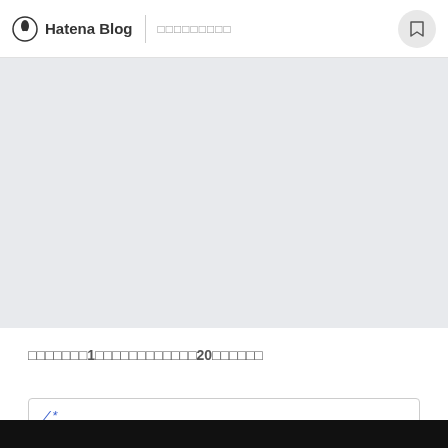Hatena Blog | □□□□□□□□□
[Figure (other): Gray placeholder image area]
□□□□□□□1□□□□□□□□□□□□20□□□□□□
/*